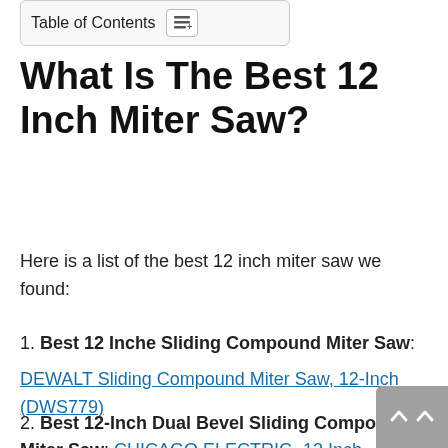[Figure (other): Table of Contents widget with icon button]
What Is The Best 12 Inch Miter Saw?
Here is a list of the best 12 inch miter saw we found:
1. Best 12 Inche Sliding Compound Miter Saw: DEWALT Sliding Compound Miter Saw, 12-Inch (DWS779)
2. Best 12-Inch Dual Bevel Sliding Compound Miter Saw: CHICAGO ELECTRIC -12 Inch